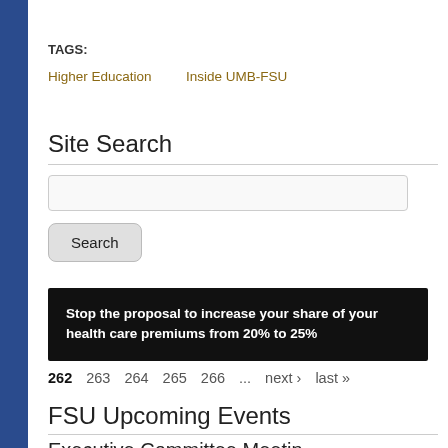TAGS:
Higher Education
Inside UMB-FSU
Site Search
Stop the proposal to increase your share of your health care premiums from 20% to 25%
262  263  264  265  266  ...  next ›  last »
FSU Upcoming Events
Executive Committee Meeting